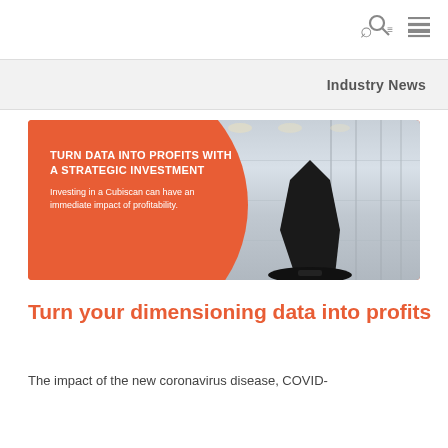🔍 ≡
Industry News
[Figure (photo): Advertisement image with orange background and circular design on left side, showing text 'TURN DATA INTO PROFITS WITH A STRATEGIC INVESTMENT' and 'Investing in a Cubiscan can have an immediate impact of profitability.' On the right side is a warehouse interior photo with a black Cubiscan dimensioning device in the foreground.]
Turn your dimensioning data into profits
The impact of the new coronavirus disease, COVID-